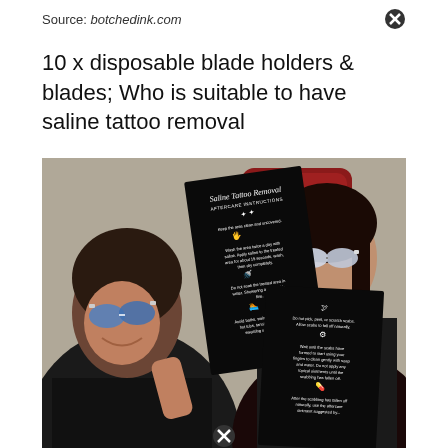Source: botchedink.com
10 x disposable blade holders & blades; Who is suitable to have saline tattoo removal
[Figure (photo): Two women holding Saline Tattoo Removal Aftercare Instructions cards. The woman on the left is smiling and wearing blue mirrored sunglasses. The woman on the right is seated in a red chair and wearing white protective goggles. Both hold black aftercare instruction cards with white text.]